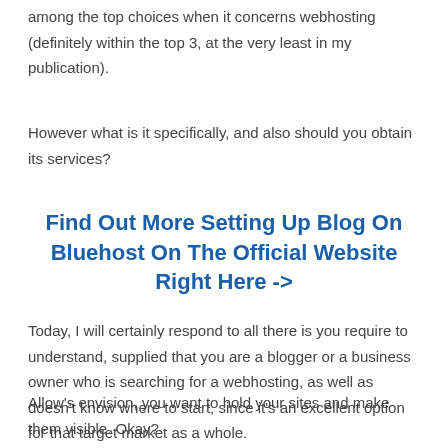among the top choices when it concerns webhosting (definitely within the top 3, at the very least in my publication).
However what is it specifically, and also should you obtain its services?
Find Out More Setting Up Blog On Bluehost On The Official Website Right Here ->
Today, I will certainly respond to all there is you require to understand, supplied that you are a blogger or a business owner who is searching for a webhosting, as well as doesn't know where to start, since it's an excellent option for that target market as a whole.
Allow's envision, you want to hold your sites and make them visible. Okay?